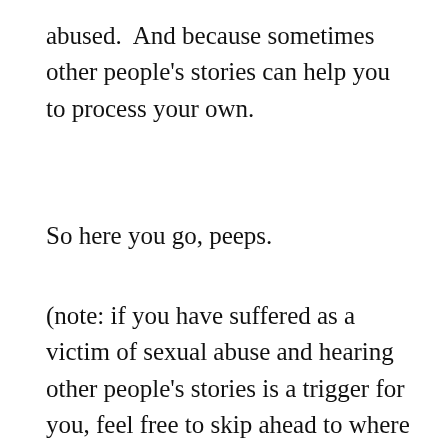abused.  And because sometimes other people's stories can help you to process your own.
So here you go, peeps.
(note: if you have suffered as a victim of sexual abuse and hearing other people's stories is a trigger for you, feel free to skip ahead to where I indicate it is safe to start reading again with a ***)